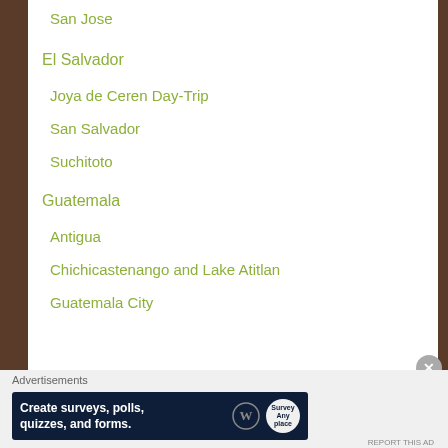San Jose
El Salvador
Joya de Ceren Day-Trip
San Salvador
Suchitoto
Guatemala
Antigua
Chichicastenango and Lake Atitlan
Guatemala City
Advertisements
[Figure (screenshot): Advertisement banner: Create surveys, polls, quizzes, and forms. WordPress and Survey Anyplace logos.]